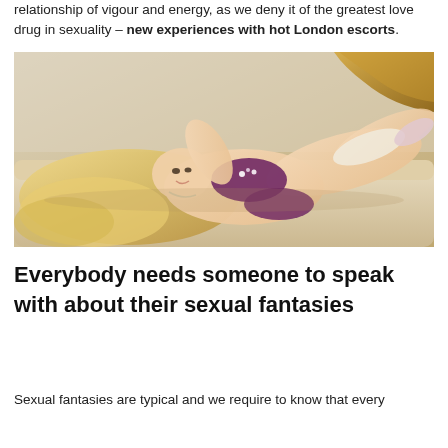relationship of vigour and energy, as we deny it of the greatest love drug in sexuality – new experiences with hot London escorts.
[Figure (photo): A blonde woman in purple lingerie and heels lying on a cream-colored sofa in front of an ornate gold-framed backdrop.]
Everybody needs someone to speak with about their sexual fantasies
Sexual fantasies are typical and we require to know that every